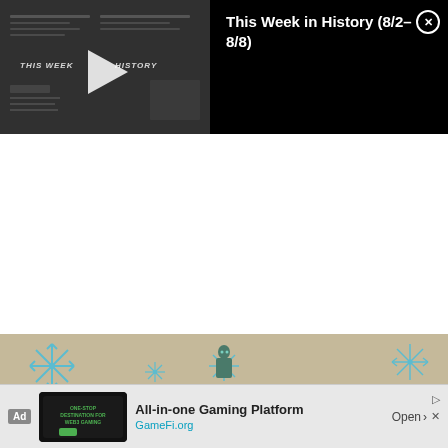[Figure (screenshot): Video player showing 'This Week in History' thumbnail with play button on dark newspaper background]
This Week in History (8/2–8/8)
[Figure (illustration): Snowflake decoration banner with blue snowflakes on tan/canvas background]
Ad  All-in-one Gaming Platform  GameFi.org  Open